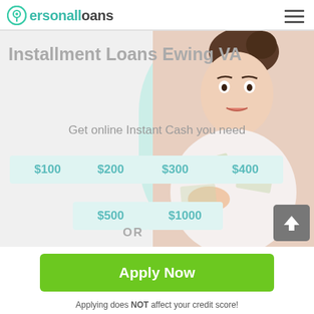[Figure (logo): PersonalLoans logo with teal speech bubble P icon]
Installment Loans Ewing VA
Get online Instant Cash you need
$100
$200
$300
$400
$500
$1000
OR
Apply Now
Applying does NOT affect your credit score!
No credit check to apply.